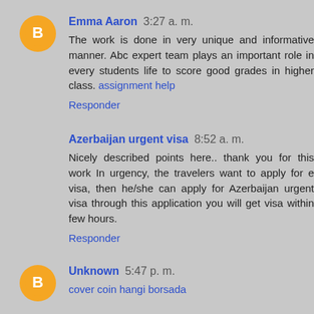Emma Aaron 3:27 a. m.
The work is done in very unique and informative manner. Abc expert team plays an important role in every students life to score good grades in higher class. assignment help
Responder
Azerbaijan urgent visa 8:52 a. m.
Nicely described points here.. thank you for this work In urgency, the travelers want to apply for e visa, then he/she can apply for Azerbaijan urgent visa through this application you will get visa within few hours.
Responder
Unknown 5:47 p. m.
cover coin hangi borsada